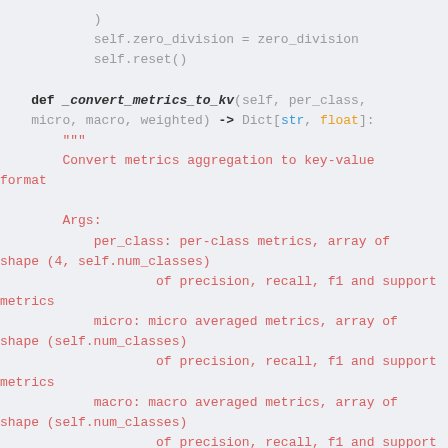Code snippet showing a Python method _convert_metrics_to_kv with docstring describing per_class, micro, macro, weighted parameters returning Dict[str, float]